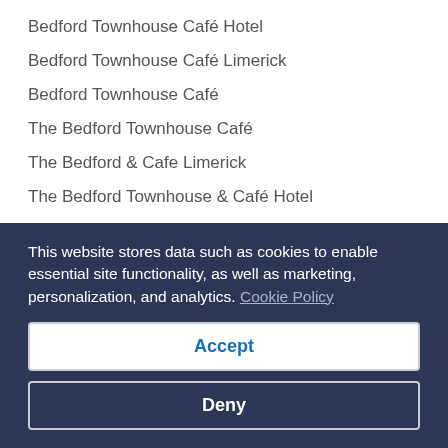Bedford Townhouse Café Hotel
Bedford Townhouse Café Limerick
Bedford Townhouse Café
The Bedford Townhouse Café
The Bedford & Cafe Limerick
The Bedford Townhouse & Café Hotel
The Bedford Townhouse & Café Limerick
The Bedford Townhouse & Café Hotel Limerick
Information about cancellation rights
This website stores data such as cookies to enable essential site functionality, as well as marketing, personalization, and analytics. Cookie Policy
Accept
Deny